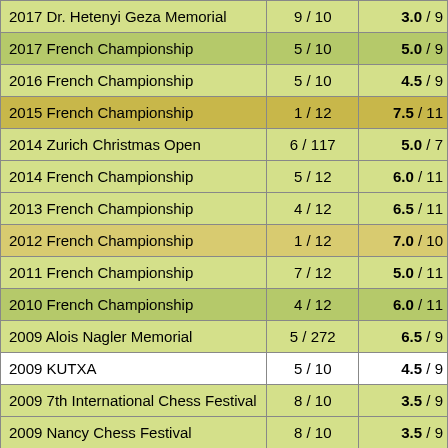| Tournament | Place | Score |
| --- | --- | --- |
| 2017 Dr. Hetenyi Geza Memorial | 9 / 10 | 3.0 / 9 |
| 2017 French Championship | 5 / 10 | 5.0 / 9 |
| 2016 French Championship | 5 / 10 | 4.5 / 9 |
| 2015 French Championship | 1 / 12 | 7.5 / 11 |
| 2014 Zurich Christmas Open | 6 / 117 | 5.0 / 7 |
| 2014 French Championship | 5 / 12 | 6.0 / 11 |
| 2013 French Championship | 4 / 12 | 6.5 / 11 |
| 2012 French Championship | 1 / 12 | 7.0 / 10 |
| 2011 French Championship | 7 / 12 | 5.0 / 11 |
| 2010 French Championship | 4 / 12 | 6.0 / 11 |
| 2009 Alois Nagler Memorial | 5 / 272 | 6.5 / 9 |
| 2009 KUTXA | 5 / 10 | 4.5 / 9 |
| 2009 7th International Chess Festival | 8 / 10 | 3.5 / 9 |
| 2009 Nancy Chess Festival | 8 / 10 | 3.5 / 9 |
| 2008 French Championship | 4 / 12 | 6.0 / 11 |
| 2008 Nancy Chess Festival | 1 / 10 | 6.5 / 9 |